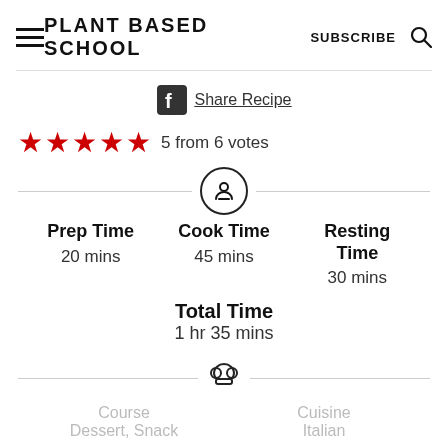PLANT BASED SCHOOL | SUBSCRIBE
Share Recipe
5 from 6 votes
Prep Time 20 mins | Cook Time 45 mins | Resting Time 30 mins
Total Time 1 hr 35 mins
Course: Dessert, Snack | Cuisine: Italian